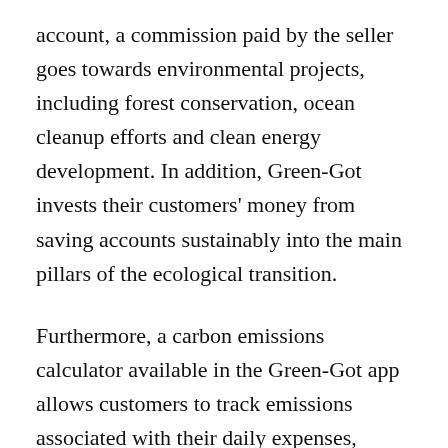account, a commission paid by the seller goes towards environmental projects, including forest conservation, ocean cleanup efforts and clean energy development. In addition, Green-Got invests their customers' money from saving accounts sustainably into the main pillars of the ecological transition.
Furthermore, a carbon emissions calculator available in the Green-Got app allows customers to track emissions associated with their daily expenses, making them more aware of the carbon footprint associated with their spending habits.
In partnering with ecolytiq on transaction-based impact calculations, Green-Got actively involves their customers in everyday climate action by educating